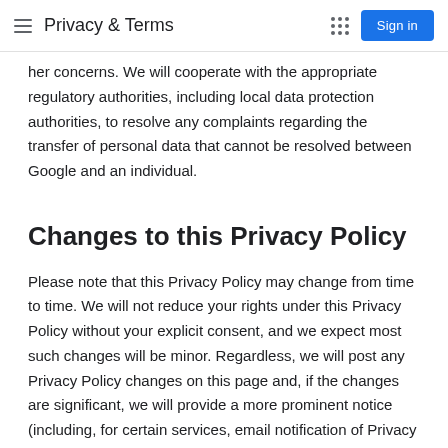Privacy & Terms
her concerns. We will cooperate with the appropriate regulatory authorities, including local data protection authorities, to resolve any complaints regarding the transfer of personal data that cannot be resolved between Google and an individual.
Changes to this Privacy Policy
Please note that this Privacy Policy may change from time to time. We will not reduce your rights under this Privacy Policy without your explicit consent, and we expect most such changes will be minor. Regardless, we will post any Privacy Policy changes on this page and, if the changes are significant, we will provide a more prominent notice (including, for certain services, email notification of Privacy Policy changes). Each version of